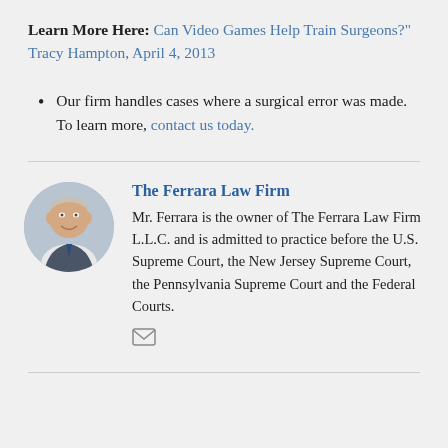Learn More Here: Can Video Games Help Train Surgeons?" Tracy Hampton, April 4, 2013
Our firm handles cases where a surgical error was made. To learn more, contact us today.
The Ferrara Law Firm
Mr. Ferrara is the owner of The Ferrara Law Firm L.L.C. and is admitted to practice before the U.S. Supreme Court, the New Jersey Supreme Court, the Pennsylvania Supreme Court and the Federal Courts.
[Figure (photo): Circular portrait photo of Mr. Ferrara, an older gentleman in a suit and tie]
[Figure (other): Email/envelope icon]